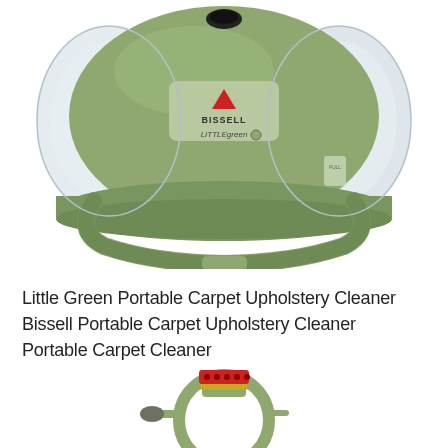[Figure (photo): Bissell Little Green portable carpet and upholstery cleaner machine, olive/sage green color with clear water tanks on both sides, green corrugated hose coiled around the base, viewed from front-slightly above angle.]
Little Green Portable Carpet Upholstery Cleaner Bissell Portable Carpet Upholstery Cleaner Portable Carpet Cleaner
[Figure (photo): Bissell Little Green portable cleaner accessory attachment head viewed from above, light green frame with red brush nozzle at top, circular design.]